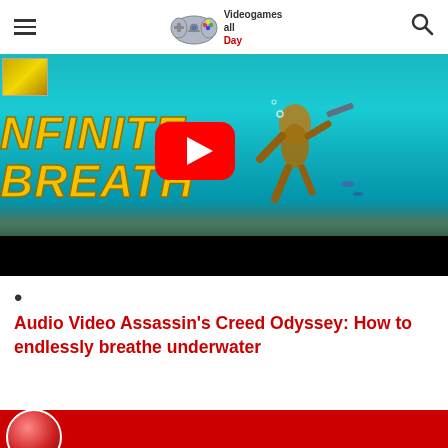Videogames all Day
[Figure (screenshot): Video thumbnail showing a game character underwater with text NFINITE BREATH in yellow italic letters, a YouTube play button overlay, and a small image in the top-left corner. Bottom portion is black letterbox bar.]
•
Audio Video Assassin's Creed Odyssey: How to endlessly breathe underwater
[Figure (screenshot): Bottom strip showing start of another video thumbnail with a red circular element on the left.]